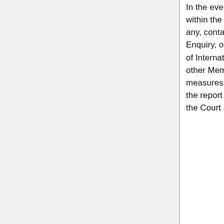In the event of any Member failing to carry out within the time specified the recommendations, if any, contained in the report of the Commission of Enquiry, or in the decision of the Permanent Court of International Justice, as the case may be, any other Member may take against that Member the measures of an economic character indicated in the report of the Commission or in the decision of the Court as appropriate to the case.
ARTICLE 420.
The defaulting Government may at any time inform the Governing Body that it has taken the steps necessary to comply with the recommendations of the Commission of Enquiry or with those in